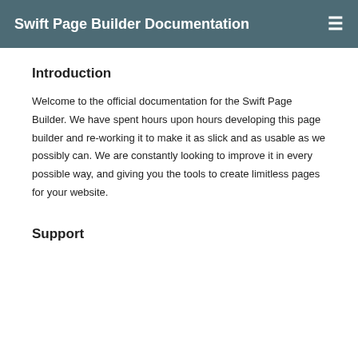Swift Page Builder Documentation
Introduction
Welcome to the official documentation for the Swift Page Builder. We have spent hours upon hours developing this page builder and re-working it to make it as slick and as usable as we possibly can. We are constantly looking to improve it in every possible way, and giving you the tools to create limitless pages for your website.
Support